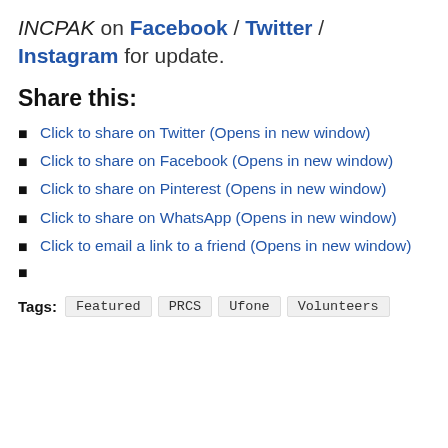INCPAK on Facebook / Twitter / Instagram for update.
Share this:
Click to share on Twitter (Opens in new window)
Click to share on Facebook (Opens in new window)
Click to share on Pinterest (Opens in new window)
Click to share on WhatsApp (Opens in new window)
Click to email a link to a friend (Opens in new window)
Tags: Featured PRCS Ufone Volunteers